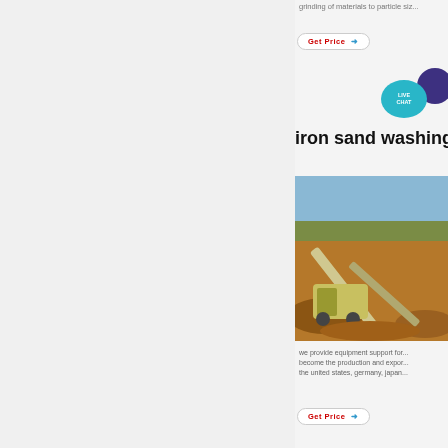grinding of materials to particle si...
Get Price →
[Figure (illustration): Live chat icon with teal speech bubble labeled LIVE CHAT and dark purple speech bubble]
iron sand washing
[Figure (photo): Mining or sand washing equipment site showing conveyor belts and machinery on a dirt landscape with blue sky]
we provide equipment support for... become the production and expor... the united states, germany, japan...
Get Price →